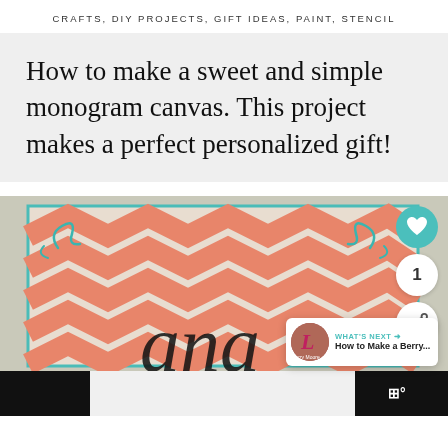CRAFTS, DIY PROJECTS, GIFT IDEAS, PAINT, STENCIL
How to make a sweet and simple monogram canvas. This project makes a perfect personalized gift!
[Figure (photo): A monogram canvas with coral/salmon chevron zigzag pattern and teal swirl decorations, with a large black monogram letter visible at the bottom. Overlaid with a heart button (teal, count: 1), share button, and a 'What's Next' panel showing 'How to Make a Berry...']